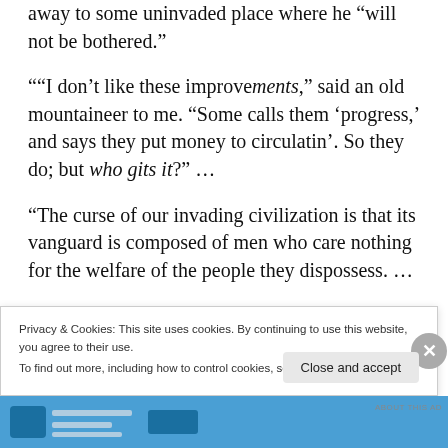away to some uninvaded place where he “will not be bothered.”
““I don’t like these improvements,” said an old mountaineer to me. “Some calls them ‘progress,’ and says they put money to circulatin’. So they do; but who gits it?” …
“The curse of our invading civilization is that its vanguard is composed of men who care nothing for the welfare of the people they dispossess. …
Privacy & Cookies: This site uses cookies. By continuing to use this website, you agree to their use.
To find out more, including how to control cookies, see here: Cookie Policy
Close and accept